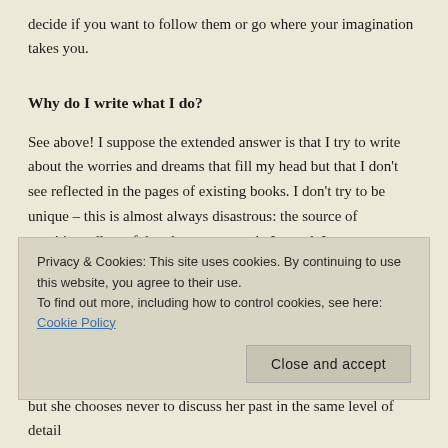decide if you want to follow them or go where your imagination takes you.
Why do I write what I do?
See above! I suppose the extended answer is that I try to write about the worries and dreams that fill my head but that I don't see reflected in the pages of existing books. I don't try to be unique – this is almost always disastrous: the source of unmitigatedly awful and arrogant work. Instead, I try to recognise how I am already unique. For instance, the unusual combination of my areas interest and professional expertise mean certain common narratives jump out at
Privacy & Cookies: This site uses cookies. By continuing to use this website, you agree to their use.
To find out more, including how to control cookies, see here: Cookie Policy
Close and accept
but she chooses never to discuss her past in the same level of detail